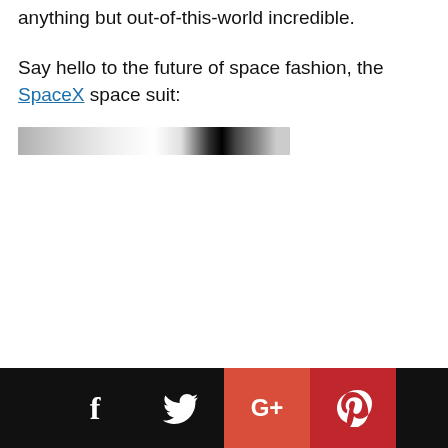anything but out-of-this-world incredible.
Say hello to the future of space fashion, the SpaceX space suit:
[Figure (photo): Partial view of a person in a SpaceX space suit, cropped at the top, showing helmet and upper torso in black and white tones]
Social share buttons: Facebook, Twitter, Google+, Pinterest